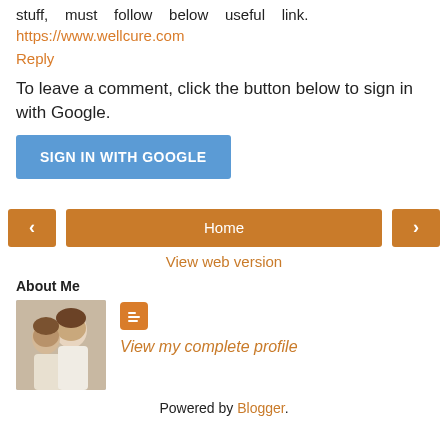stuff, must follow below useful link. https://www.wellcure.com
Reply
To leave a comment, click the button below to sign in with Google.
[Figure (other): Blue button labeled SIGN IN WITH GOOGLE]
[Figure (other): Navigation row with left arrow button, Home button, and right arrow button]
View web version
About Me
[Figure (photo): Profile photo of two women]
[Figure (logo): Blogger orange icon]
View my complete profile
Powered by Blogger.